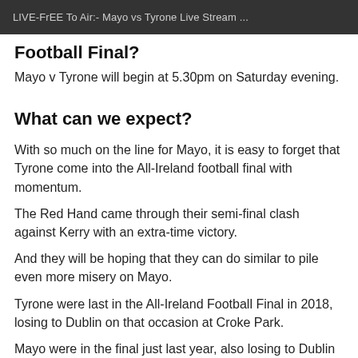LIVE-FrEE To Air:- Mayo vs Tyrone Live Stream ...
Football Final?
Mayo v Tyrone will begin at 5.30pm on Saturday evening.
What can we expect?
With so much on the line for Mayo, it is easy to forget that Tyrone come into the All-Ireland football final with momentum.
The Red Hand came through their semi-final clash against Kerry with an extra-time victory.
And they will be hoping that they can do similar to pile even more misery on Mayo.
Tyrone were last in the All-Ireland Football Final in 2018, losing to Dublin on that occasion at Croke Park.
Mayo were in the final just last year, also losing to Dublin by